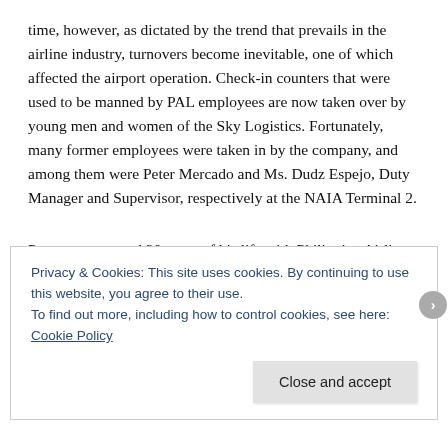time, however, as dictated by the trend that prevails in the airline industry, turnovers become inevitable, one of which affected the airport operation. Check-in counters that were used to be manned by PAL employees are now taken over by young men and women of the Sky Logistics. Fortunately, many former employees were taken in by the company, and among them were Peter Mercado and Ms. Dudz Espejo, Duty Manager and Supervisor, respectively at the NAIA Terminal 2.
Peter spent a good 20 years of his life with Philippine Airlines while Ms. Dudz spent 25 years of her own. Interestingly, Ms. Dudz is also the better half of Palomo, who used to be among the trusted supervisors of Philippine Airlines. Just like the rest
Privacy & Cookies: This site uses cookies. By continuing to use this website, you agree to their use.
To find out more, including how to control cookies, see here: Cookie Policy
Close and accept